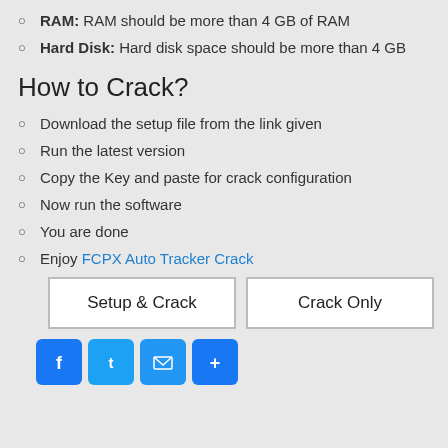RAM: RAM should be more than 4 GB of RAM
Hard Disk: Hard disk space should be more than 4 GB
How to Crack?
Download the setup file from the link given
Run the latest version
Copy the Key and paste for crack configuration
Now run the software
You are done
Enjoy FCPX Auto Tracker Crack
[Figure (other): Two download buttons: Setup & Crack and Crack Only]
[Figure (other): Social share icons: Facebook, Twitter, Email, Share]